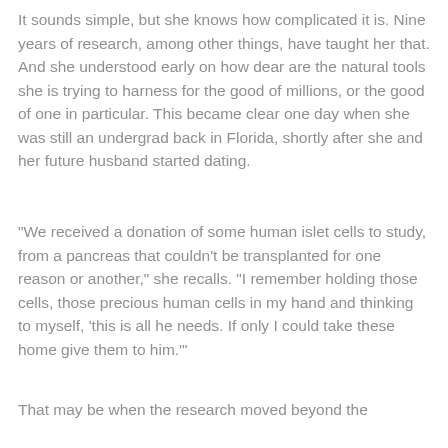It sounds simple, but she knows how complicated it is. Nine years of research, among other things, have taught her that. And she understood early on how dear are the natural tools she is trying to harness for the good of millions, or the good of one in particular. This became clear one day when she was still an undergrad back in Florida, shortly after she and her future husband started dating.
"We received a donation of some human islet cells to study, from a pancreas that couldn't be transplanted for one reason or another," she recalls. "I remember holding those cells, those precious human cells in my hand and thinking to myself, 'this is all he needs. If only I could take these home give them to him.'"
That may be when the research moved beyond the